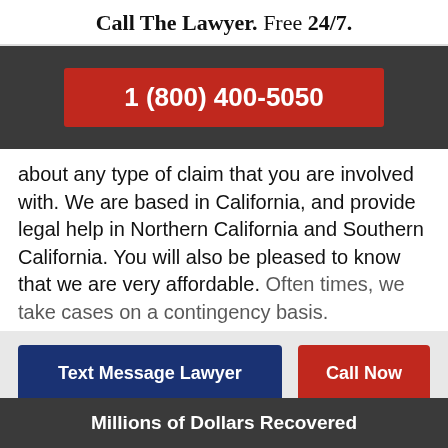Call The Lawyer. Free 24/7.
1 (800) 400-5050
about any type of claim that you are involved with. We are based in California, and provide legal help in Northern California and Southern California. You will also be pleased to know that we are very affordable. Often times, we take cases on a contingency basis.
Text Message Lawyer
Call Now
Millions of Dollars Recovered